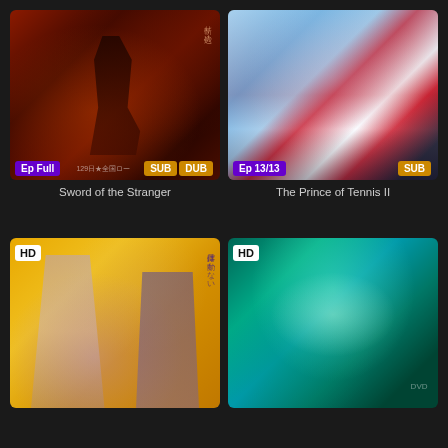[Figure (screenshot): Sword of the Stranger anime movie thumbnail with dark red samurai artwork, badges showing Ep Full, SUB, DUB]
Sword of the Stranger
[Figure (screenshot): The Prince of Tennis II anime thumbnail showing sports team in red and white uniforms, badges showing Ep 13/13, SUB]
The Prince of Tennis II
[Figure (screenshot): JoJo's Bizarre Adventure anime thumbnail on yellow background showing characters, HD badge]
[Figure (screenshot): Pokemon anime movie thumbnail with teal/green background showing Pokemon characters including Pikachu, HD badge]